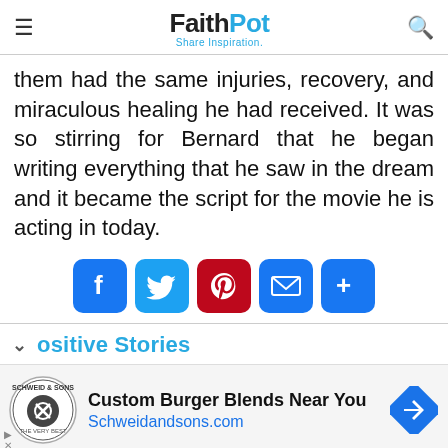FaithPot – Share Inspiration.
them had the same injuries, recovery, and miraculous healing he had received. It was so stirring for Bernard that he began writing everything that he saw in the dream and it became the script for the movie he is acting in today.
[Figure (infographic): Social share buttons: Facebook (blue), Twitter (blue), Pinterest (red), Email (blue), More (blue)]
Positive Stories
[Figure (infographic): Advertisement: Schweid & Sons logo, Custom Burger Blends Near You, Schweidandsons.com, navigation arrow icon]